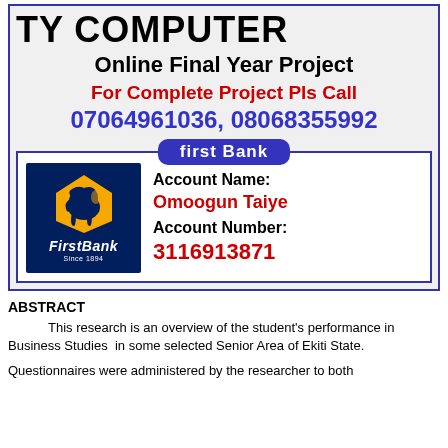TY COMPUTER Online Final Year Project
For Complete Project Pls Call 07064961036, 08068355992
[Figure (logo): First Bank logo with elephant and yellow shield on dark blue background, text 'FirstBank Since 1894']
first Bank
Account Name: Omoogun Taiye
Account Number: 3116913871
ABSTRACT
This research is an overview of the student's performance in Business Studies  in some selected Senior Area of Ekiti State.
Questionnaires were administered by the researcher to both